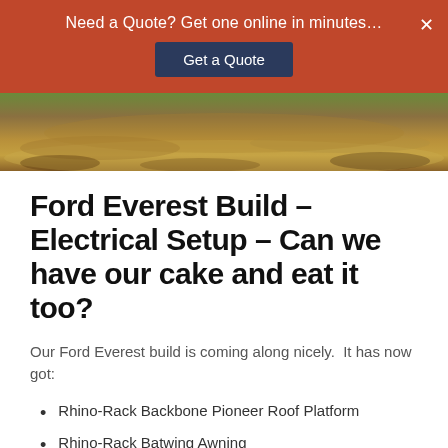Need a Quote? Get one online in minutes…
[Figure (photo): Outdoor terrain photo showing dry dirt ground with scattered leaves and dry grass]
Ford Everest Build – Electrical Setup – Can we have our cake and eat it too?
Our Ford Everest build is coming along nicely.  It has now got:
Rhino-Rack Backbone Pioneer Roof Platform
Rhino-Rack Batwing Awning